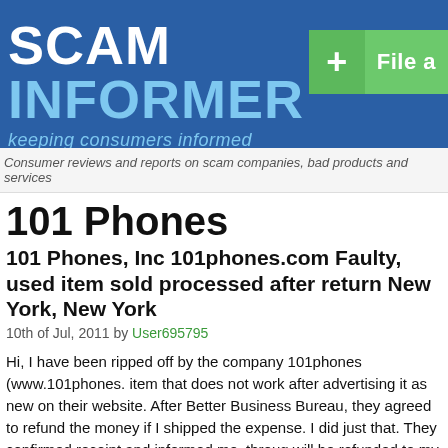SCAM INFORMER keeping consumers informed
Consumer reviews and reports on scam companies, bad products and services
101 Phones
101 Phones, Inc 101phones.com Faulty, used item sold processed after return New York, New York
10th of Jul, 2011 by User695795
Hi, I have been ripped off by the company 101phones (www.101phones. item that does not work after advertising it as new on their website. After Better Business Bureau, they agreed to refund the money if I shipped the expense. I did just that. They confirmed receipt and informed me, throug will be refunded to my PayPal account latest by 1st July. Two weeks late Whenever I call the manager, a lady (I use the term loosely) called Beth voicemail. Even after leaving two messages, I haven't heard back from t waiting for me to give up. The thing is, I won't. Even for a sum less than principle. Even a cursory search on Google with the words "101phones